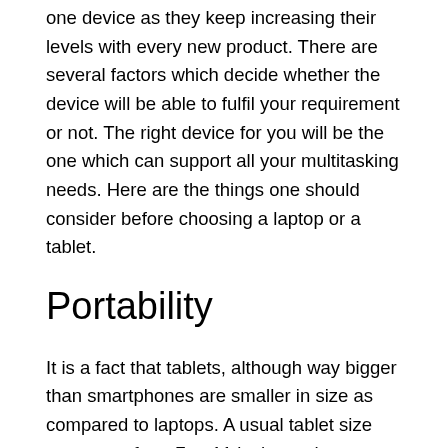one device as they keep increasing their levels with every new product. There are several factors which decide whether the device will be able to fulfil your requirement or not. The right device for you will be the one which can support all your multitasking needs. Here are the things one should consider before choosing a laptop or a tablet.
Portability
It is a fact that tablets, although way bigger than smartphones are smaller in size as compared to laptops. A usual tablet size can range from 7 to 11 inches, whereas a laptop is around 12-16 inches in size. Thus, laptops are pretty easy to carry around due to its small size and lightweight. But, Microsoft's Surface Pro has a screen size of 12.3 inches and weighs 786 grams. Having a tablet of that size and weight might not be the best choice if you need a